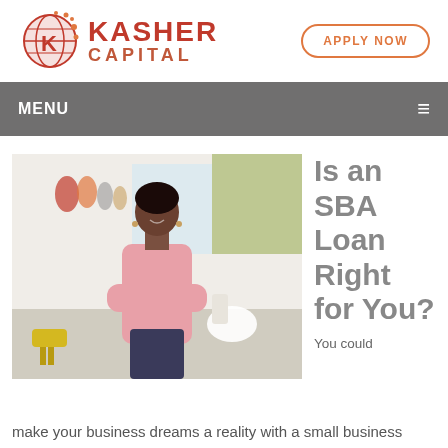[Figure (logo): Kasher Capital logo with globe/K icon in red-orange and text KASHER CAPITAL, plus APPLY NOW button]
MENU ≡
[Figure (photo): Woman in pink cardigan standing with arms crossed in a bright office/retail setting]
Is an SBA Loan Right for You?
You could make your business dreams a reality with a small business